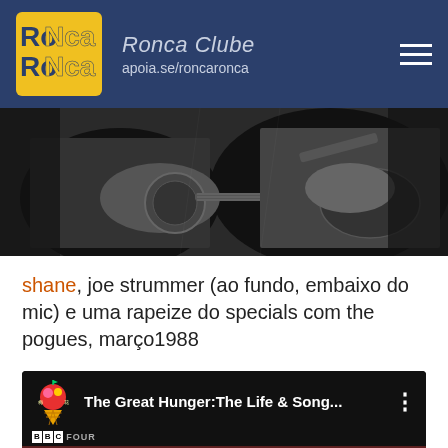Ronca Clube — apoia.se/roncaronca
[Figure (photo): Black and white photo of musicians playing banjo and guitar on stage]
shane, joe strummer (ao fundo, embaixo do mic) e uma rapeize do specials com the pogues, março1988
[Figure (screenshot): YouTube video thumbnail for 'The Great Hunger: The Life & Song...' on BBC Four with ice cream logo icon]